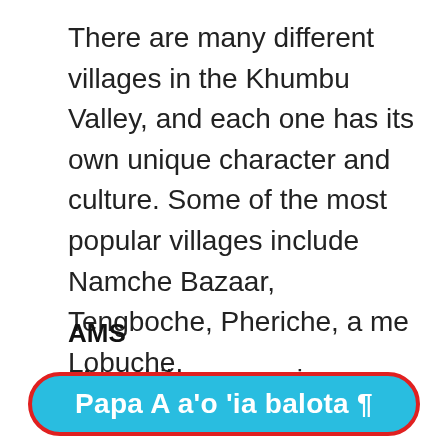There are many different villages in the Khumbu Valley, and each one has its own unique character and culture. Some of the most popular villages include Namche Bazaar, Tengboche, Pheriche, a me Lobuche.
AMS
Many hikers experience problems
Papa A a'o 'ia balota ¶